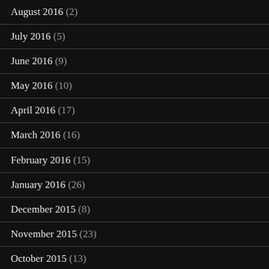August 2016 (2)
July 2016 (5)
June 2016 (9)
May 2016 (10)
April 2016 (17)
March 2016 (16)
February 2016 (15)
January 2016 (26)
December 2015 (8)
November 2015 (23)
October 2015 (13)
September 2015 (11)
August 2015 (2)